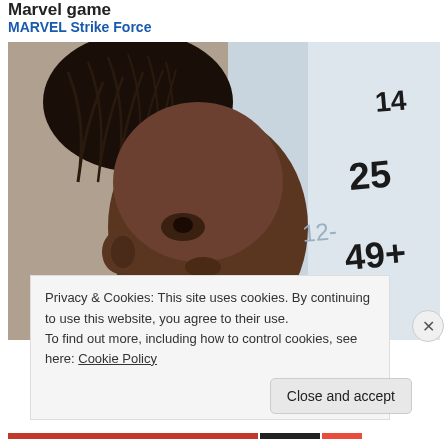Marvel game
MARVEL Strike Force
[Figure (photo): A young girl with braided hair looking up at a whiteboard with math numbers written on it (14, 25, 49+)]
Privacy & Cookies: This site uses cookies. By continuing to use this website, you agree to their use.
To find out more, including how to control cookies, see here: Cookie Policy
Close and accept